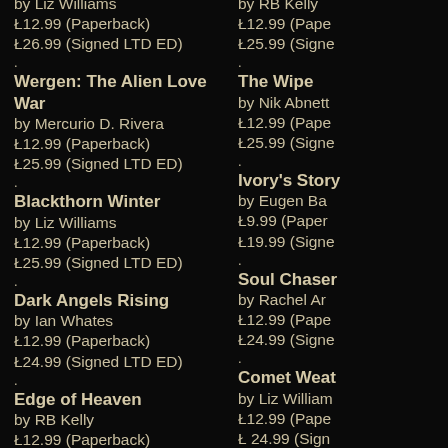by Liz Williams
Ł12.99 (Paperback)
Ł26.99 (Signed LTD ED)
by RB Kelly
Ł12.99 (Paperback)
Ł25.99 (Signed [truncated])
Wergen: The Alien Love War
by Mercurio D. Rivera
Ł12.99 (Paperback)
Ł25.99 (Signed LTD ED)
The Wipe
by Nik Abnett
Ł12.99 (Paperback)
Ł25.99 (Signed [truncated])
Blackthorn Winter
by Liz Williams
Ł12.99 (Paperback)
Ł25.99 (Signed LTD ED)
Ivory's Story
by Eugen Ba[truncated]
Ł9.99 (Paperback)
Ł19.99 (Signed [truncated])
Dark Angels Rising
by Ian Whates
Ł12.99 (Paperback)
Ł24.99 (Signed LTD ED)
Soul Chaser
by Rachel Ar[truncated]
Ł12.99 (Paperback)
Ł24.99 (Signed [truncated])
Edge of Heaven
by RB Kelly
Ł12.99 (Paperback)
Comet Weat[truncated]
by Liz William[truncated]
Ł12.99 (Paperback)
Ł24.99 (Signed [truncated])